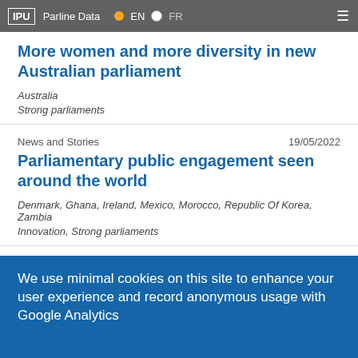IPU | Parline Data | EN | FR
More women and more diversity in new Australian parliament
Australia
Strong parliaments
News and Stories  19/05/2022
Parliamentary public engagement seen around the world
Denmark, Ghana, Ireland, Mexico, Morocco, Republic Of Korea, Zambia
Innovation, Strong parliaments
News and Stories
We use minimal cookies on this site to enhance your user experience and record anonymous usage with Google Analytics